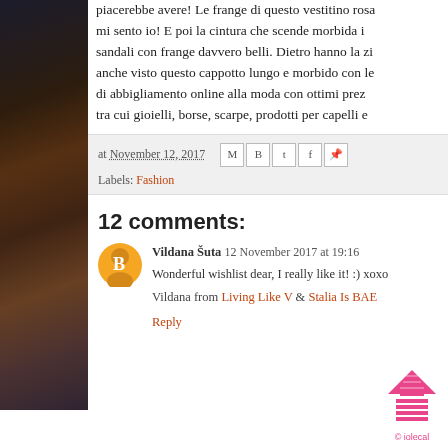[Figure (photo): Left sidebar photo strip showing a dark blurred image, likely a person or outdoor scene in muted browns and dark tones.]
piacerebbe avere! Le frange di questo vestitino rosa mi sento io! E poi la cintura che scende morbida i sandali con frange davvero belli. Dietro hanno la zi anche visto questo cappotto lungo e morbido con le di abbigliamento online alla moda con ottimi prez tra cui gioielli, borse, scarpe, prodotti per capelli e
at November 12, 2017  Labels: Fashion
12 comments:
Vildana Šuta 12 November 2017 at 19:16
Wonderful wishlist dear, I really like it! :) xoxo
Vildana from Living Like V & Stalia Is BAE
Reply
[Figure (illustration): Pink upward arrow with stacked horizontal lines forming a scroll-to-top button, with © iolecal copyright label below in pink.]